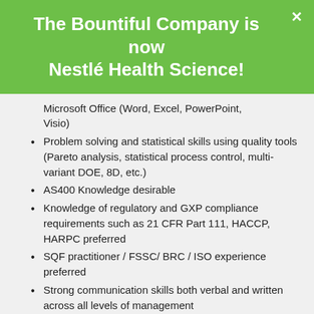The Bountiful Company is now Nestlé Health Science!
Microsoft Office (Word, Excel, PowerPoint, Visio)
Problem solving and statistical skills using quality tools (Pareto analysis, statistical process control, multi-variant DOE, 8D, etc.)
AS400 Knowledge desirable
Knowledge of regulatory and GXP compliance requirements such as 21 CFR Part 111, HACCP, HARPC preferred
SQF practitioner / FSSC/ BRC / ISO experience preferred
Strong communication skills both verbal and written across all levels of management
Solid attention to detail to maintain audit records and audit reports